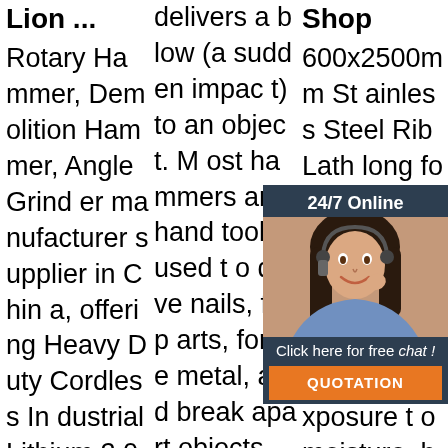Lion ...
Rotary Hammer, Demolition Hammer, Angle Grinder manufacturer supplier in China, offering Heavy Duty Cordless Industrial Lithium 20V Brushless Angle Grinder, Powerful Industrial Power Tools Level Heavy Duty 1600W 29kg Demolition Hammer, Power Tool Electric
delivers a blow (a sudden impact) to an object. Most hammers are hand tools used to drive nails, fit parts, forge metal, and break apart objects. Hammers vary in shape, size, and structure, depending on their purposes. Hammers are basic tools in many trades.The usual features are a ho
Shop
600x2500mm Stainless Steel Rib Lathe long for uses s and For extensions ey and nd a trol. pplications and where there is regular exposure to moisture, heavy y condensation
[Figure (infographic): Customer service chat widget with '24/7 Online' header, photo of woman with headset, 'Click here for free chat!' text, and orange QUOTATION button]